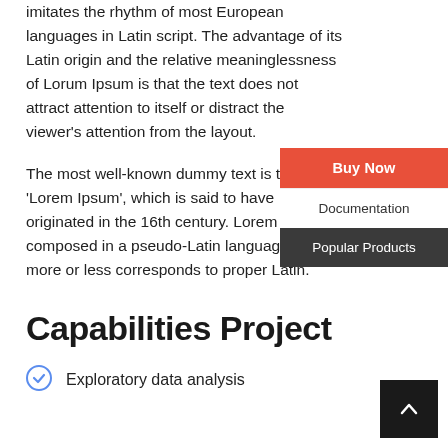imitates the rhythm of most European languages in Latin script. The advantage of its Latin origin and the relative meaninglessness of Lorum Ipsum is that the text does not attract attention to itself or distract the viewer's attention from the layout.
The most well-known dummy text is the 'Lorem Ipsum', which is said to have originated in the 16th century. Lorem Ipsum is composed in a pseudo-Latin language which more or less corresponds to proper Latin.
[Figure (screenshot): Dropdown menu overlay with three items: 'Buy Now' button (red/orange background), 'Documentation' (white background), and 'Popular Products' (dark background)]
Capabilities Project
Exploratory data analysis